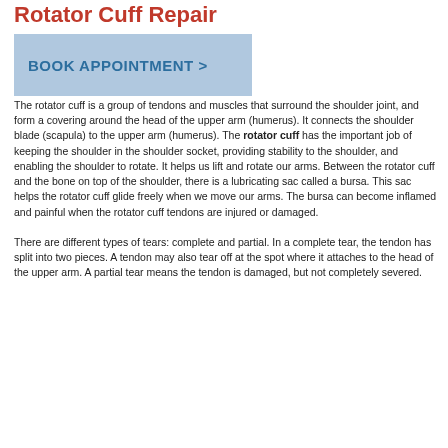Rotator Cuff Repair
[Figure (other): Blue button with text BOOK APPOINTMENT >]
The rotator cuff is a group of tendons and muscles that surround the shoulder joint, and form a covering around the head of the upper arm (humerus). It connects the shoulder blade (scapula) to the upper arm (humerus). The rotator cuff has the important job of keeping the shoulder in the shoulder socket, providing stability to the shoulder, and enabling the shoulder to rotate. It helps us lift and rotate our arms. Between the rotator cuff and the bone on top of the shoulder, there is a lubricating sac called a bursa. This sac helps the rotator cuff glide freely when we move our arms. The bursa can become inflamed and painful when the rotator cuff tendons are injured or damaged.

There are different types of tears: complete and partial. In a complete tear, the tendon has split into two pieces. A tendon may also tear off at the spot where it attaches to the head of the upper arm. A partial tear means the tendon is damaged, but not completely severed.